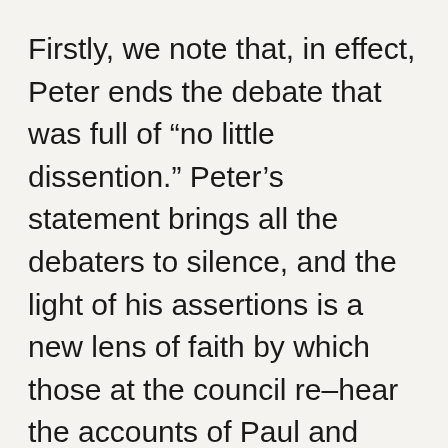Firstly, we note that, in effect, Peter ends the debate that was full of “no little dissention.” Peter’s statement brings all the debaters to silence, and the light of his assertions is a new lens of faith by which those at the council re–hear the accounts of Paul and Barnabas. They have a new paradigm of faith, as confirmed and clarified by Peter, for the consideration at hand.